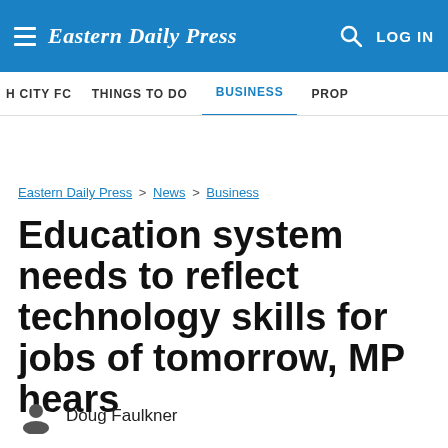Eastern Daily Press — LOG IN
H CITY FC  THINGS TO DO  BUSINESS  PROP
Eastern Daily Press > News > Business
Education system needs to reflect technology skills for jobs of tomorrow, MP hears
Doug Faulkner